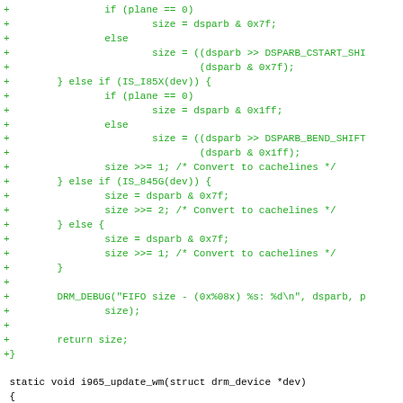Code diff showing C source code with added lines (green) and a diff hunk header (magenta), followed by unchanged C code lines (black).